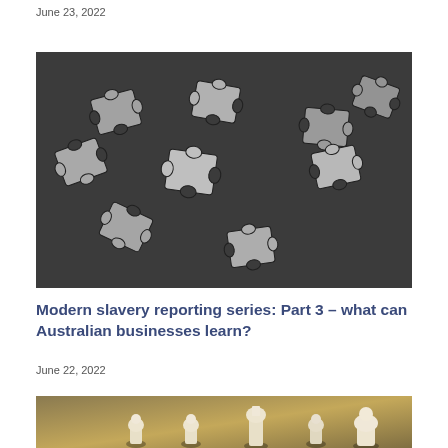June 23, 2022
[Figure (photo): Scattered jigsaw puzzle pieces on a dark gray surface, black and white/grayscale photo]
Modern slavery reporting series: Part 3 – what can Australian businesses learn?
June 22, 2022
[Figure (photo): Chess pieces on a golden-brown background, showing pawns and other pieces in soft focus]